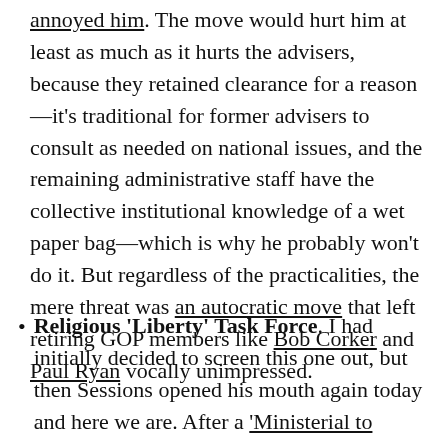annoyed him. The move would hurt him at least as much as it hurts the advisers, because they retained clearance for a reason—it's traditional for former advisers to consult as needed on national issues, and the remaining administrative staff have the collective institutional knowledge of a wet paper bag—which is why he probably won't do it. But regardless of the practicalities, the mere threat was an autocratic move that left retiring GOP members like Bob Corker and Paul Ryan vocally unimpressed.
Religious 'Liberty' Task Force. I had initially decided to screen this one out, but then Sessions opened his mouth again today and here we are. After a 'Ministerial to